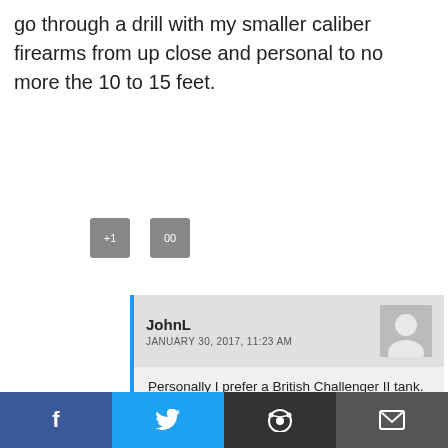go through a drill with my smaller caliber firearms from up close and personal to no more the 10 to 15 feet.
[Figure (other): Two small grey action/reaction buttons]
JohnL
JANUARY 30, 2017, 11:23 AM
Personally I prefer a British Challenger II tank. But when that s not avail 380 acp with good ammo at close range will work just fine. Thx for your detailed and accurate reply.
[Figure (other): Social share bar with Facebook, Twitter, Reddit, and email icons]